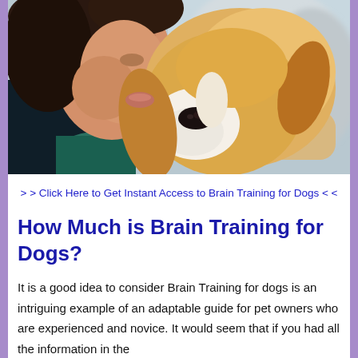[Figure (photo): A young woman with dark hair kissing the head of a beagle dog she is holding close. The dog has golden/tan and white coloring with large droopy ears and is looking at the camera. Soft blurred background.]
> > Click Here to Get Instant Access to Brain Training for Dogs < <
How Much is Brain Training for Dogs?
It is a good idea to consider Brain Training for dogs is an intriguing example of an adaptable guide for pet owners who are experienced and novice. It would seem that if you had all the information in the